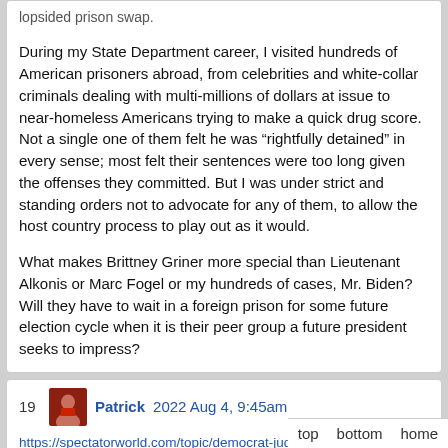lopsided prison swap.

During my State Department career, I visited hundreds of American prisoners abroad, from celebrities and white-collar criminals dealing with multi-millions of dollars at issue to near-homeless Americans trying to make a quick drug score. Not a single one of them felt he was "rightfully detained" in every sense; most felt their sentences were too long given the offenses they committed. But I was under strict and standing orders not to advocate for any of them, to allow the host country process to play out as it would.

What makes Brittney Griner more special than Lieutenant Alkonis or Marc Fogel or my hundreds of cases, Mr. Biden? Will they have to wait in a foreign prison for some future election cycle when it is their peer group a future president seeks to impress?
19  Patrick  2022 Aug 4, 9:45am
https://spectatorworld.com/topic/democrat-judge-takes-over-paul-pelosi-arraignment/